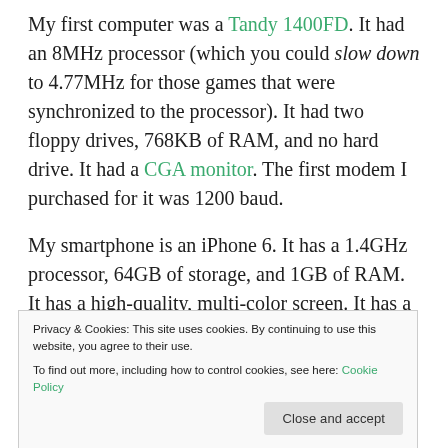My first computer was a Tandy 1400FD. It had an 8MHz processor (which you could slow down to 4.77MHz for those games that were synchronized to the processor). It had two floppy drives, 768KB of RAM, and no hard drive. It had a CGA monitor. The first modem I purchased for it was 1200 baud.
My smartphone is an iPhone 6. It has a 1.4GHz processor, 64GB of storage, and 1GB of RAM. It has a high-quality, multi-color screen. It has a host of other technologies like WiFi, Bluetooth, NFC, LTE, and sensors galore. It can download and upload
Privacy & Cookies: This site uses cookies. By continuing to use this website, you agree to their use.
To find out more, including how to control cookies, see here: Cookie Policy
Close and accept
different. And, my smartphone can also do about